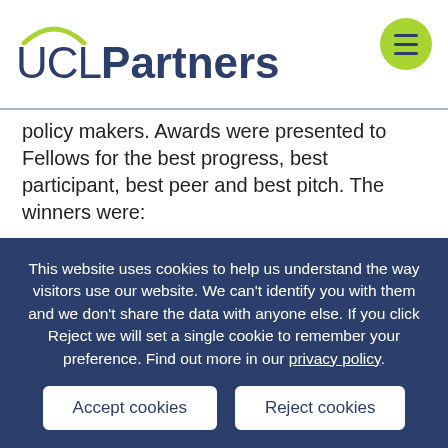UCL Partners
policy makers. Awards were presented to Fellows for the best progress, best participant, best peer and best pitch. The winners were:
Matt Jameson Evans, Health Unlocked and Anna Moore, i-Thrive for best all
This website uses cookies to help us understand the way visitors use our website. We can't identify you with them and we don't share the data with anyone else. If you click Reject we will set a single cookie to remember your preference. Find out more in our privacy policy.